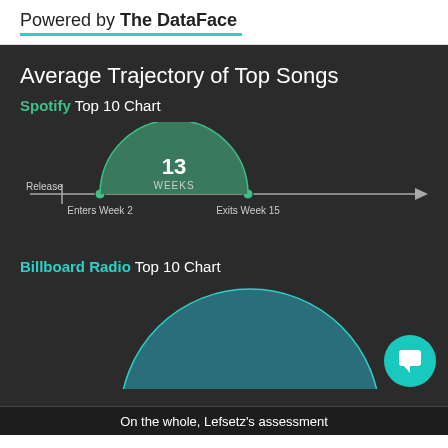Powered by The DataFace
Average Trajectory of Top Songs
Spotify Top 10 Chart
[Figure (infographic): Semicircle arc showing Spotify Top 10 chart trajectory. A horizontal timeline arrow goes from Release point through 'Enters Week 2' (green dot) to 'Exits Week 15' (green dot). A large green filled semicircle sits above the timeline between those two dots, labeled '13 WEEKS' in the center.]
Billboard Radio Top 10 Chart
[Figure (infographic): Partial teal/blue semicircle showing Billboard Radio Top 10 chart trajectory. The number 26 is partially visible in the center. The arc is cut off at the bottom of the page.]
On the whole, Lefsetz's assessment